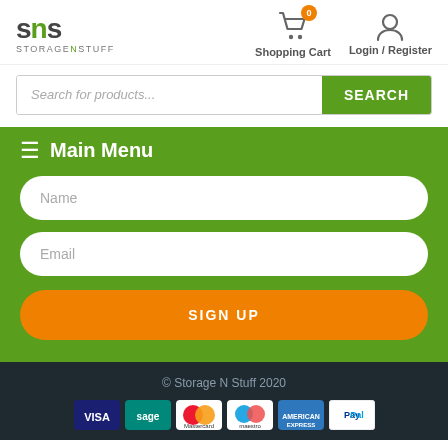[Figure (logo): SNS Storage N Stuff logo]
Shopping Cart
Login / Register
Search for products...
SEARCH
≡ Main Menu
Name
Email
SIGN UP
© Storage N Stuff 2020
[Figure (other): Payment method icons: VISA, Sage, Mastercard, Maestro, American Express, PayPal]